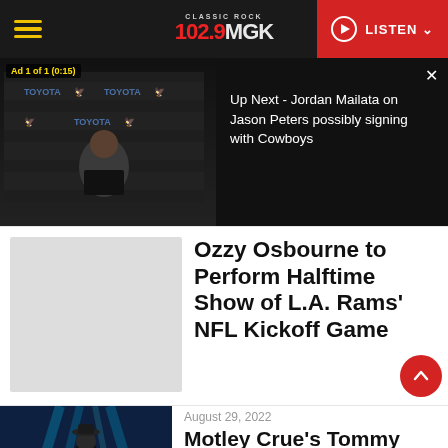102.9 MGK Classic Rock | LISTEN
[Figure (screenshot): Video player showing NFL Eagles press conference with ad overlay. Right panel shows 'Up Next - Jordan Mailata on Jason Peters possibly signing with Cowboys']
Up Next - Jordan Mailata on Jason Peters possibly signing with Cowboys
[Figure (photo): Placeholder image for Ozzy Osbourne article]
Ozzy Osbourne to Perform Halftime Show of L.A. Rams' NFL Kickoff Game
August 29, 2022
[Figure (photo): Photo of Tommy Lee performing on stage with blue stage lighting, wearing a hat]
Motley Crue's Tommy Lee Pulls a 'Wiener' Out of his Pants